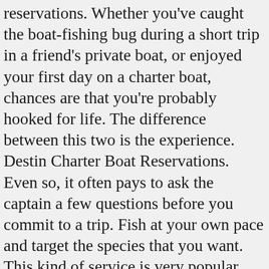reservations. Whether you've caught the boat-fishing bug during a short trip in a friend's private boat, or enjoyed your first day on a charter boat, chances are that you're probably hooked for life. The difference between this two is the experience. Destin Charter Boat Reservations. Even so, it often pays to ask the captain a few questions before you commit to a trip. Fish at your own pace and target the species that you want. This kind of service is very popular among avid anglers. A level of sailing experience is needed. There are a dozen types of charter boat, each with their own pros and cons. Charter boat fishing happens in South Australian marine waters and has bag, boat, size and trip limits. Every now and then, let someone else worry about finding the fish; all you have to do is have your fishing license , … From communicating with your guide, to knowing what to pack, doing your homework early is critical. Every charter service is unique and most specializing in certain type of fishing. On last page of